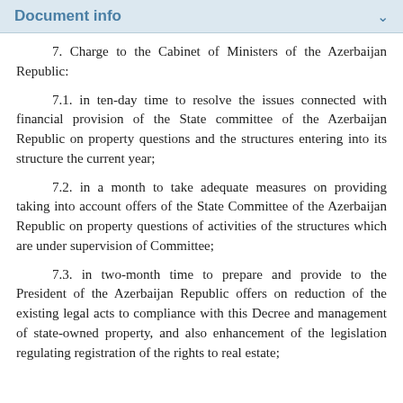Document info
7. Charge to the Cabinet of Ministers of the Azerbaijan Republic:
7.1. in ten-day time to resolve the issues connected with financial provision of the State committee of the Azerbaijan Republic on property questions and the structures entering into its structure the current year;
7.2. in a month to take adequate measures on providing taking into account offers of the State Committee of the Azerbaijan Republic on property questions of activities of the structures which are under supervision of Committee;
7.3. in two-month time to prepare and provide to the President of the Azerbaijan Republic offers on reduction of the existing legal acts to compliance with this Decree and management of state-owned property, and also enhancement of the legislation regulating registration of the rights to real estate;